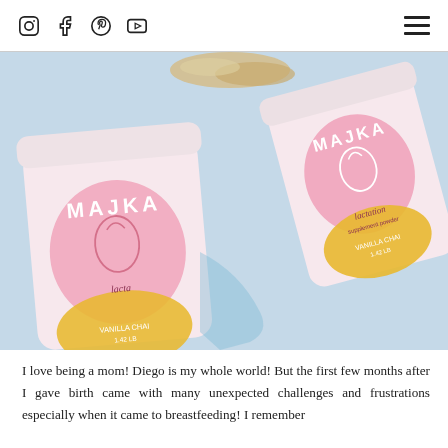Social media icons (Instagram, Facebook, Pinterest, YouTube) and hamburger menu
[Figure (photo): Two white cylindrical containers of Majka lactation supplement powder with pink and yellow labels featuring a flamingo logo, photographed on a light blue background with powder spilled nearby.]
I love being a mom! Diego is my whole world! But the first few months after I gave birth came with many unexpected challenges and frustrations especially when it came to breastfeeding! I remember